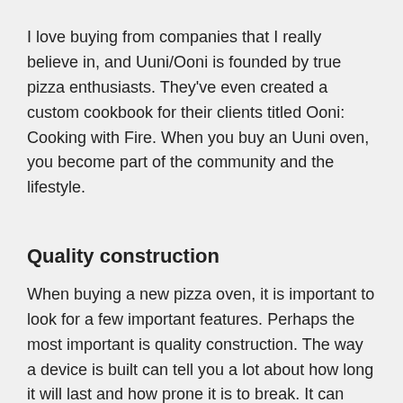I love buying from companies that I really believe in, and Uuni/Ooni is founded by true pizza enthusiasts. They've even created a custom cookbook for their clients titled Ooni: Cooking with Fire. When you buy an Uuni oven, you become part of the community and the lifestyle.
Quality construction
When buying a new pizza oven, it is important to look for a few important features. Perhaps the most important is quality construction. The way a device is built can tell you a lot about how long it will last and how prone it is to break. It can also inform you how portable it is, and how it will look over time.